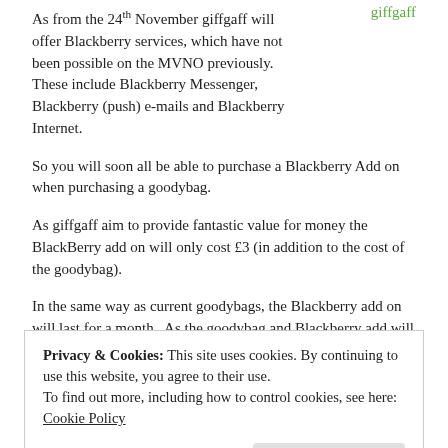As from the 24th November giffgaff will offer Blackberry services, which have not been possible on the MVNO previously. These include Blackberry Messenger, Blackberry (push) e-mails and Blackberry Internet.
[Figure (logo): giffgaff logo in green text]
So you will soon all be able to purchase a Blackberry Add on when purchasing a goodybag.
As giffgaff aim to provide fantastic value for money the BlackBerry add on will only cost £3 (in addition to the cost of the goodybag).
In the same way as current goodybags, the Blackberry add on will last for a month. As the goodybag and Blackberry add will have to be bought at the same time, they will expire on the same date as
Privacy & Cookies: This site uses cookies. By continuing to use this website, you agree to their use.
To find out more, including how to control cookies, see here: Cookie Policy
on and the goodybag at the same time and with the same payment